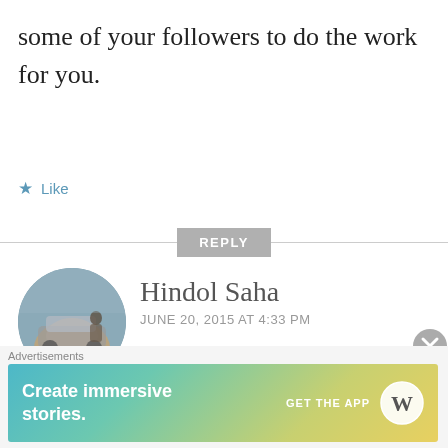some of your followers to do the work for you.
Like
REPLY
Hindol Saha
JUNE 20, 2015 AT 4:33 PM
[Figure (photo): Circular avatar photo of Hindol Saha showing a person near a car outdoors]
please dont do this MR. Gaurav Shukla...this is the best android blog i have ever seen this is my daily blog please
Advertisements
[Figure (screenshot): WordPress advertisement banner: 'Create immersive stories.' with GET THE APP button and WordPress logo]